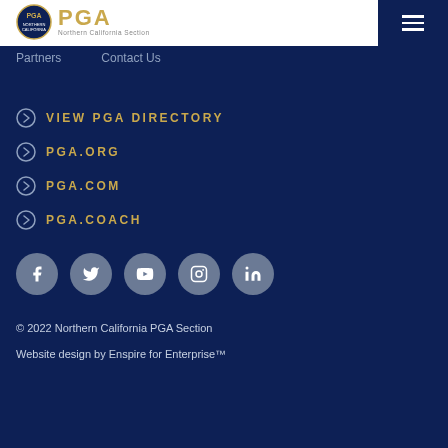PGA Northern California Section
Partners
Contact Us
VIEW PGA DIRECTORY
PGA.ORG
PGA.COM
PGA.COACH
[Figure (infographic): Social media icons row: Facebook, Twitter, YouTube, Instagram, LinkedIn]
© 2022 Northern California PGA Section
Website design by Enspire for Enterprise™